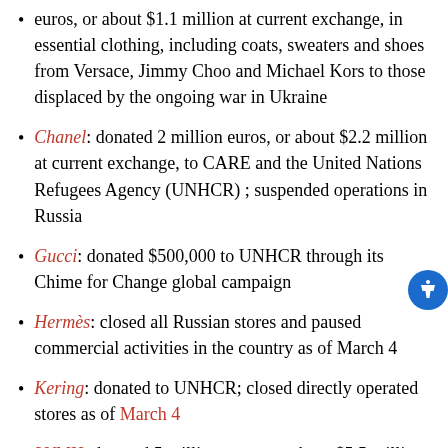euros, or about $1.1 million at current exchange, in essential clothing, including coats, sweaters and shoes from Versace, Jimmy Choo and Michael Kors to those displaced by the ongoing war in Ukraine
Chanel: donated 2 million euros, or about $2.2 million at current exchange, to CARE and the United Nations Refugees Agency (UNHCR) ; suspended operations in Russia
Gucci: donated $500,000 to UNHCR through its Chime for Change global campaign
Hermès: closed all Russian stores and paused commercial activities in the country as of March 4
Kering: donated to UNHCR; closed directly operated stores as of March 4
LVMH: donated 5 million euros, or about $5.5 million at current exchange, to the International Committee of the Red Cross (ICRC); closed all